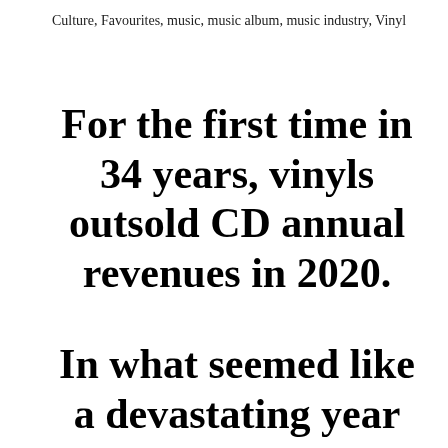Culture, Favourites, music, music album, music industry, Vinyl
For the first time in 34 years, vinyls outsold CD annual revenues in 2020.
In what seemed like a devastating year for the music